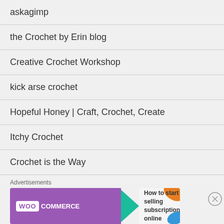askagimp
the Crochet by Erin blog
Creative Crochet Workshop
kick arse crochet
Hopeful Honey | Craft, Crochet, Create
Itchy Crochet
Crochet is the Way
ELK Studio - Handcrafted Crochet Designs
[Figure (screenshot): WooCommerce advertisement banner: How to start selling subscriptions online]